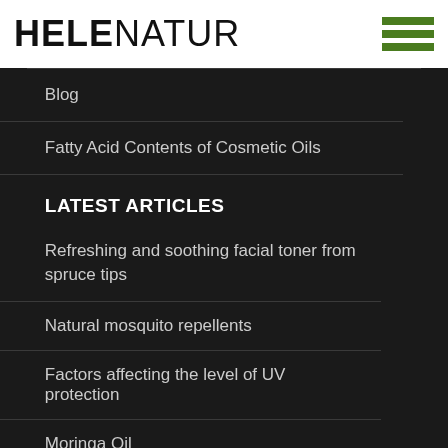HELENATUR
Blog
Fatty Acid Contents of Cosmetic Oils
LATEST ARTICLES
Refreshing and soothing facial toner from spruce tips
Natural mosquito repellents
Factors affecting the level of UV protection
Moringa Oil